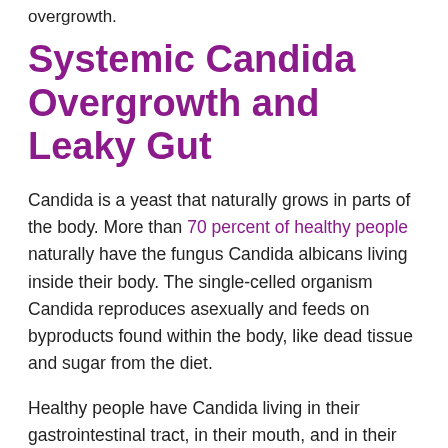overgrowth.
Systemic Candida Overgrowth and Leaky Gut
Candida is a yeast that naturally grows in parts of the body. More than 70 percent of healthy people naturally have the fungus Candida albicans living inside their body. The single-celled organism Candida reproduces asexually and feeds on byproducts found within the body, like dead tissue and sugar from the diet.
Healthy people have Candida living in their gastrointestinal tract, in their mouth, and in their birth canal.1 So why doesn't